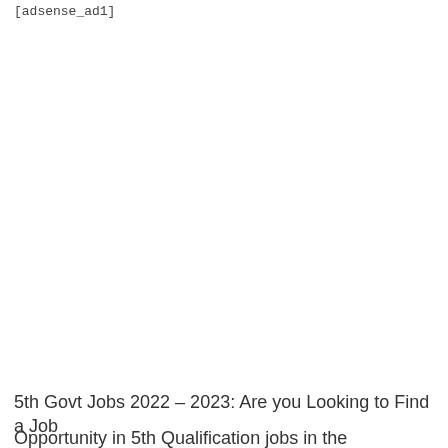[adsense_ad1]
5th Govt Jobs 2022 – 2023: Are you Looking to Find a Job Opportunity in 5th Qualification jobs in the Government of
Opportunity in 5th Qualification jobs in the Government of